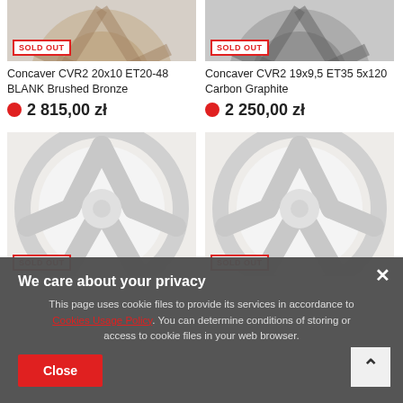[Figure (photo): Concaver CVR2 wheel image (top portion visible), Brushed Bronze finish]
[Figure (photo): Concaver CVR2 wheel image (top portion visible), Carbon Graphite finish]
Concaver CVR2 20x10 ET20-48 BLANK Brushed Bronze
2 815,00 zł
Concaver CVR2 19x9,5 ET35 5x120 Carbon Graphite
2 250,00 zł
[Figure (photo): Concaver CVR2 wheel image, silver/white finish, SOLD OUT badge]
[Figure (photo): Concaver CVR2 wheel image, silver/white finish, SOLD OUT badge]
We care about your privacy
This page uses cookie files to provide its services in accordance to Cookies Usage Policy. You can determine conditions of storing or access to cookie files in your web browser.
Close